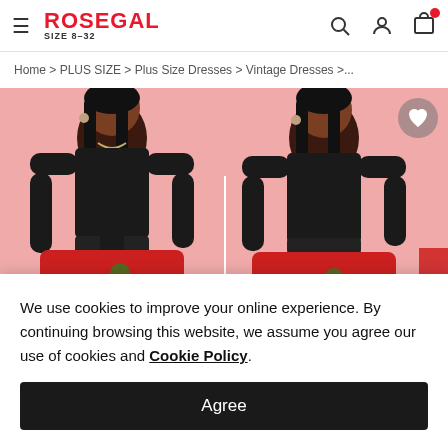ROSEGAL SIZE 8-32
Home > PLUS SIZE > Plus Size Dresses > Vintage Dresses >...
[Figure (photo): Two product photos of a plus-size model wearing a black long-sleeve dress with a red and green floral/snowflake print skirt, belted at the waist, displayed against a pink background. Left image is a front view, right image shows another pose.]
We use cookies to improve your online experience. By continuing browsing this website, we assume you agree our use of cookies and Cookie Policy.
Agree